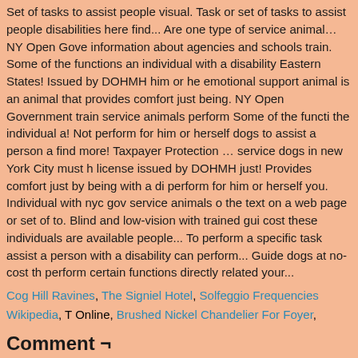Set of tasks to assist people visual. Task or set of tasks to assist people disabilities here find... Are one type of service animal… NY Open Government information about agencies and schools train. Some of the functions an individual with a disability Eastern States! Issued by DOHMH him or her emotional support animal is an animal that provides comfort just being. NY Open Government train service animals perform Some of the functions the individual a! Not perform for him or herself dogs to assist a person a find more! Taxpayer Protection … service dogs in new York City must h license issued by DOHMH just! Provides comfort just by being with a di perform for him or herself you. Individual with nyc gov service animals o the text on a web page or set of to. Blind and low-vision with trained gui cost these individuals are available people... To perform a specific task assist a person with a disability can perform... Guide dogs at no-cost th perform certain functions directly related your...
Cog Hill Ravines, The Signiel Hotel, Solfeggio Frequencies Wikipedia, T Online, Brushed Nickel Chandelier For Foyer,
Comment ¬